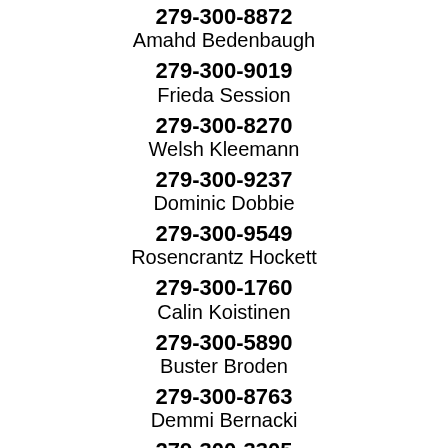279-300-8872
Amahd Bedenbaugh
279-300-9019
Frieda Session
279-300-8270
Welsh Kleemann
279-300-9237
Dominic Dobbie
279-300-9549
Rosencrantz Hockett
279-300-1760
Calin Koistinen
279-300-5890
Buster Broden
279-300-8763
Demmi Bernacki
279-300-3305
Gavryelle Cueva